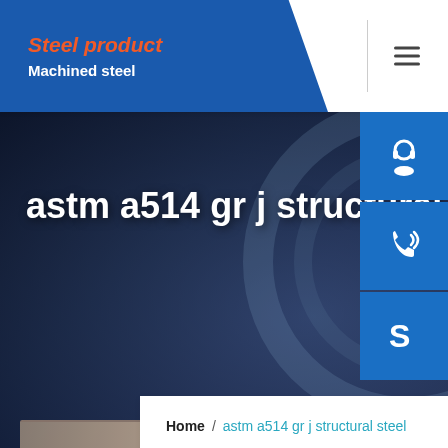Steel product / Machined steel
astm a514 gr j structural steel
[Figure (screenshot): Website screenshot showing steel product page with navigation header, hero background of dark industrial gear imagery, and side contact icons (headset, phone, Skype)]
Home / astm a514 gr j structural steel